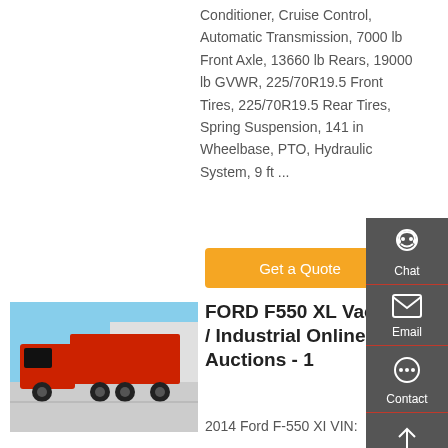Conditioner, Cruise Control, Automatic Transmission, 7000 lb Front Axle, 13660 lb Rears, 19000 lb GVWR, 225/70R19.5 Front Tires, 225/70R19.5 Rear Tires, Spring Suspension, 141 in Wheelbase, PTO, Hydraulic System, 9 ft ...
[Figure (other): Orange 'Get a Quote' button]
[Figure (photo): Red dump truck (HOWO) parked outdoors]
FORD F550 XL Vacuum / Industrial Online Auctions - 1
2014 Ford F-550 XI VIN: